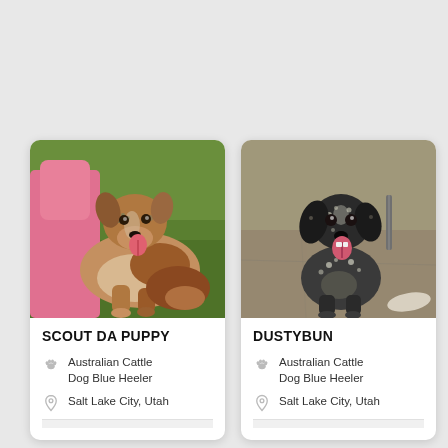[Figure (photo): Photo of Scout Da Puppy — an Australian Cattle Dog Blue Heeler — lying on grass with tongue out, next to a person in pink.]
SCOUT DA PUPPY
Australian Cattle Dog Blue Heeler
Salt Lake City, Utah
[Figure (photo): Photo of Dustybun — an Australian Cattle Dog Blue Heeler — a dark speckled puppy looking up at the camera with tongue out on a concrete surface.]
DUSTYBUN
Australian Cattle Dog Blue Heeler
Salt Lake City, Utah